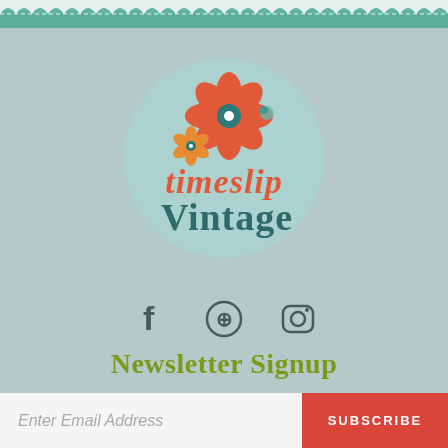[Figure (logo): Timeslip Vintage logo — coral/orange flower with blue-green circle, text reads 'timeslip Vintage' in coral and teal]
[Figure (infographic): Social media icons: Facebook (f), Pinterest (circle with pin), Instagram (camera outline)]
Newsletter Signup
Be the first to know about our new vintage arrivals, exclusive offers, and events!
Enter Email Address  |  SUBSCRIBE